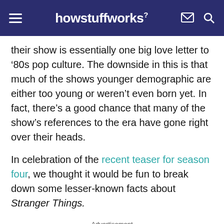howstuffworks
their show is essentially one big love letter to ‘80s pop culture. The downside in this is that much of the shows younger demographic are either too young or weren’t even born yet. In fact, there’s a good chance that many of the show’s references to the era have gone right over their heads.
In celebration of the recent teaser for season four, we thought it would be fun to break down some lesser-known facts about Stranger Things.
Advertisement
[Figure (other): Advertisement banner: Get the HowStuffWorks Newsletter! with Sign Up button]